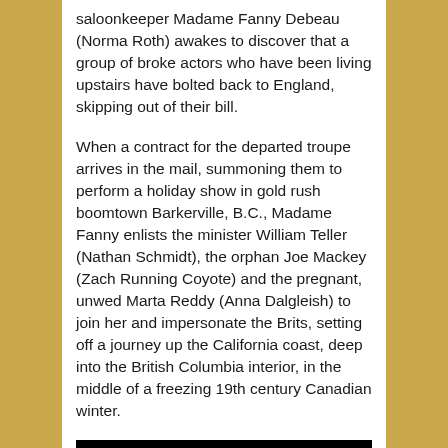saloonkeeper Madame Fanny Debeau (Norma Roth) awakes to discover that a group of broke actors who have been living upstairs have bolted back to England, skipping out of their bill.
When a contract for the departed troupe arrives in the mail, summoning them to perform a holiday show in gold rush boomtown Barkerville, B.C., Madame Fanny enlists the minister William Teller (Nathan Schmidt), the orphan Joe Mackey (Zach Running Coyote) and the pregnant, unwed Marta Reddy (Anna Dalgleish) to join her and impersonate the Brits, setting off a journey up the California coast, deep into the British Columbia interior, in the middle of a freezing 19th century Canadian winter.
[Figure (photo): Dark/black image with a faint reddish figure or flame visible at the bottom center, likely a still from a film or video.]